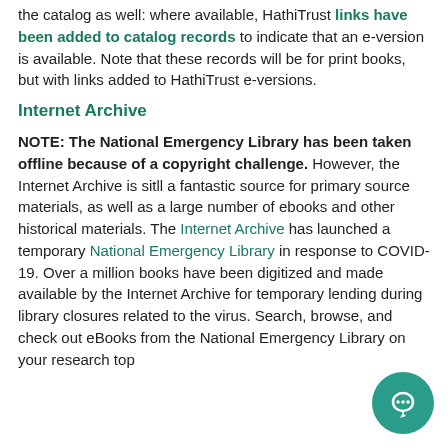the catalog as well: where available, HathiTrust links have been added to catalog records to indicate that an e-version is available. Note that these records will be for print books, but with links added to HathiTrust e-versions.
Internet Archive
NOTE: The National Emergency Library has been taken offline because of a copyright challenge. However, the Internet Archive is sitll a fantastic source for primary source materials, as well as a large number of ebooks and other historical materials. The Internet Archive has launched a temporary National Emergency Library in response to COVID-19. Over a million books have been digitized and made available by the Internet Archive for temporary lending during library closures related to the virus. Search, browse, and check out eBooks from the National Emergency Library on your research top…